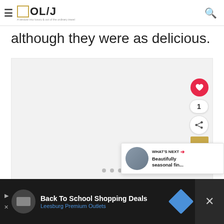OL/J — A window into luxury & out of the ordinary travel
although they were as delicious.
[Figure (photo): Gray placeholder image area with three navigation dots at the bottom center, part of an image carousel.]
[Figure (screenshot): What's Next panel showing a thumbnail and text 'Beautifully seasonal fin...' with a red arrow label 'WHAT'S NEXT']
[Figure (screenshot): Advertisement bar: Back To School Shopping Deals — Leesburg Premium Outlets]